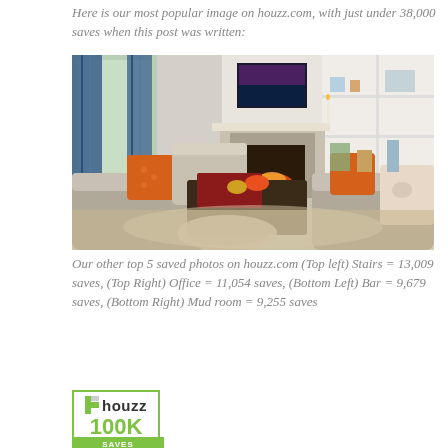Here is our most popular image on houzz.com, with just under 38,000 saves when this post was written:
[Figure (photo): Interior photo of a cozy living room with built-in white bookshelves, a fireplace, a dark wood coffee table, sofas with orange and floral patterned throw pillows, blue patterned curtains, and a wall-mounted TV above the fireplace.]
Our other top 5 saved photos on houzz.com (Top left) Stairs = 13,009 saves, (Top Right) Office = 11,054 saves, (Bottom Left) Bar = 9,679 saves, (Bottom Right) Mud room = 9,255 saves
[Figure (logo): Houzz 100K Saves badge with green border, Houzz logo icon and wordmark, green 100K text, and green SAVES bar at bottom.]